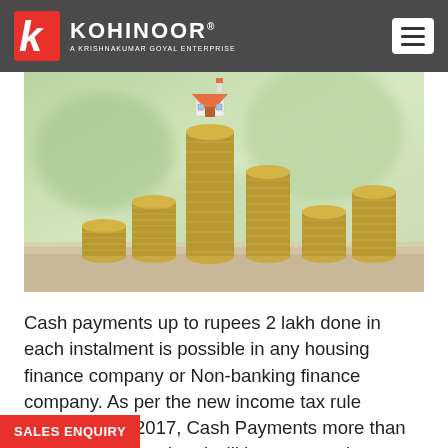KOHINOOR® — A KRISHNAKUMAR GOYAL ENTERPRISE
[Figure (photo): Stacks of gold coins in ascending height with a miniature house model sitting on top of the tallest stack, on a blurred green background]
Cash payments up to rupees 2 lakh done in each instalment is possible in any housing finance company or Non-banking finance company. As per the new income tax rule introduced in 2017, Cash Payments more than Rs 2 lakh is illegal and will have a penalty.
SALES ENQUIRY